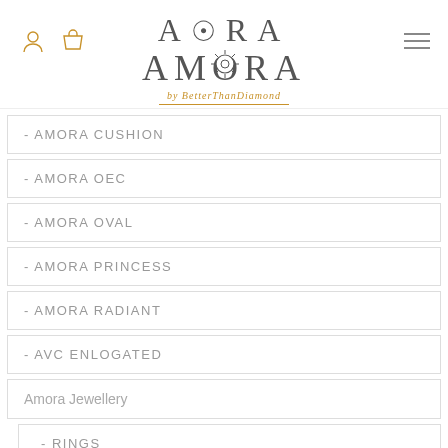AMORA by BetterThanDiamond
- AMORA CUSHION
- AMORA OEC
- AMORA OVAL
- AMORA PRINCESS
- AMORA RADIANT
- AVC ENLOGATED
Amora Jewellery
- RINGS
- WEDDING
- HALO & SIDE GEMS